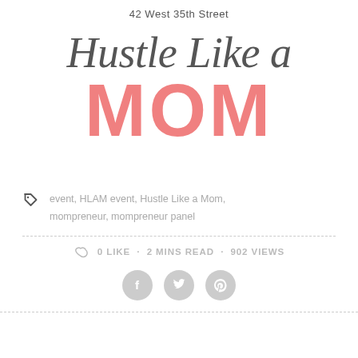42 West 35th Street
Hustle Like a MOM
event, HLAM event, Hustle Like a Mom, mompreneur, mompreneur panel
0 LIKE · 2 MINS READ · 902 VIEWS
[Figure (infographic): Three social media share buttons: Facebook, Twitter, Pinterest — circular grey icons]